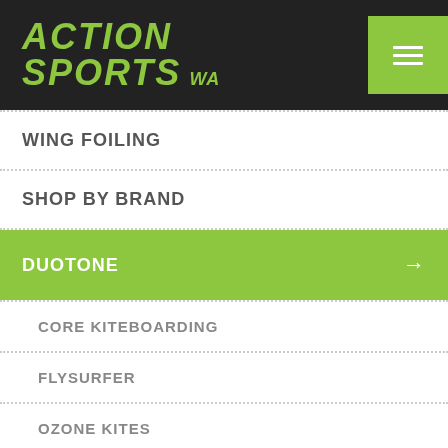ACTION SPORTS WA
WING FOILING
SHOP BY BRAND
DUOTONE →
CORE KITEBOARDING
FLYSURFER
OZONE KITES
ION PRODUCTS